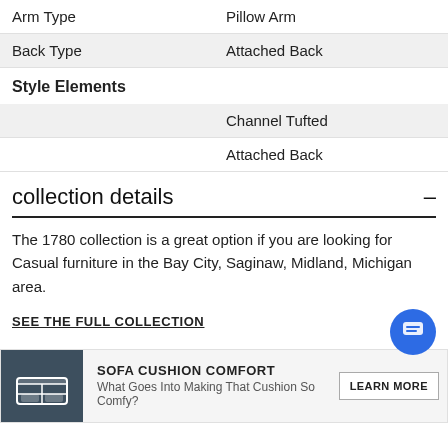| Arm Type | Pillow Arm |
| Back Type | Attached Back |
Style Elements
|  | Channel Tufted |
|  | Attached Back |
collection details
The 1780 collection is a great option if you are looking for Casual furniture in the Bay City, Saginaw, Midland, Michigan area.
SEE THE FULL COLLECTION
[Figure (infographic): Sofa cushion comfort banner with a sofa icon on dark background, title 'SOFA CUSHION COMFORT', subtitle 'What Goes Into Making That Cushion So Comfy?', and a 'LEARN MORE' button]